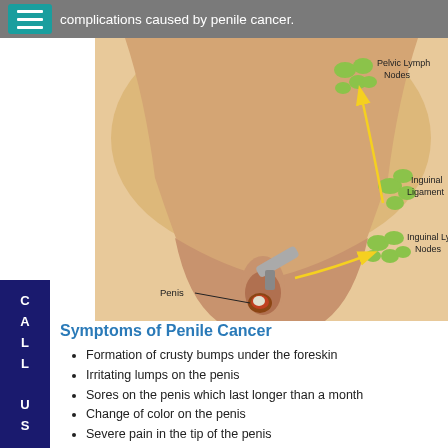complications caused by penile cancer.
[Figure (illustration): Medical illustration showing anatomy related to penile cancer, including Pelvic Lymph Nodes, Inguinal Ligament, Inguinal Lymph Nodes, and Penis, with yellow arrows indicating lymphatic spread pathways.]
Symptoms of Penile Cancer
Formation of crusty bumps under the foreskin
Irritating lumps on the penis
Sores on the penis which last longer than a month
Change of color on the penis
Severe pain in the tip of the penis
Thickening of skin on the penis
Persistent discharge beneath the foreskin
Discharge of blood from the tip of the penis or under